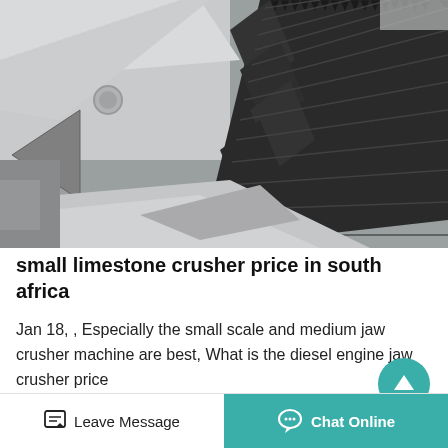[Figure (photo): Close-up photo of a jaw crusher machine showing serrated/toothed metal crusher plates in grey and black, with visible mechanical components]
small limestone crusher price in south africa
Jan 18, , Especially the small scale and medium jaw crusher machine are best, What is the diesel engine jaw crusher price in South Africa? Live Chat...